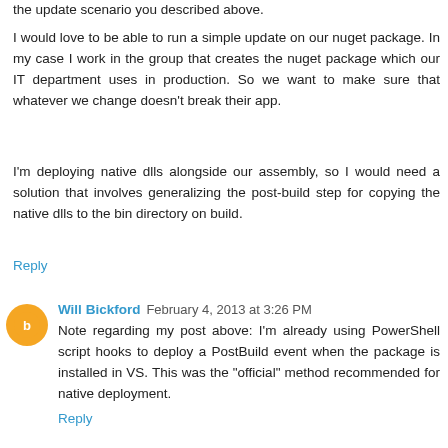the update scenario you described above.
I would love to be able to run a simple update on our nuget package. In my case I work in the group that creates the nuget package which our IT department uses in production. So we want to make sure that whatever we change doesn't break their app.
I'm deploying native dlls alongside our assembly, so I would need a solution that involves generalizing the post-build step for copying the native dlls to the bin directory on build.
Reply
Will Bickford  February 4, 2013 at 3:26 PM
Note regarding my post above: I'm already using PowerShell script hooks to deploy a PostBuild event when the package is installed in VS. This was the "official" method recommended for native deployment.
Reply